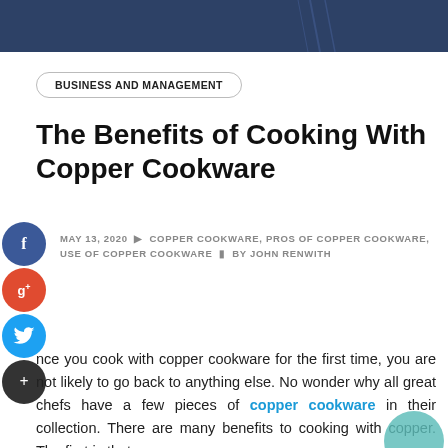BUSINESS AND MANAGEMENT
The Benefits of Cooking With Copper Cookware
MAY 13, 2020   COPPER COOKWARE, PROS OF COPPER COOKWARE, USE OF COPPER COOKWARE   BY JOHN RENWITH
Once you cook with copper cookware for the first time, you are not likely to go back to anything else. No wonder why all great chefs have a few pieces of copper cookware in their collection. There are many benefits to cooking with copper. The first is that copper is an amazing conductor of heat.